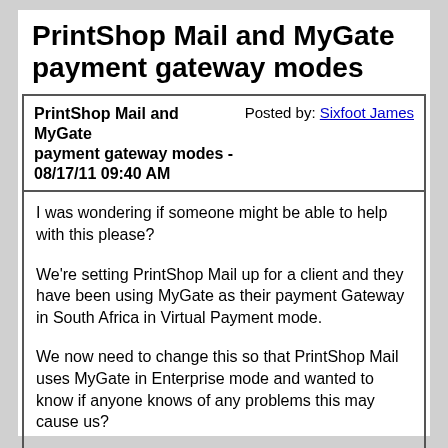PrintShop Mail and MyGate payment gateway modes
| PrintShop Mail and MyGate payment gateway modes - 08/17/11 09:40 AM | Posted by: Sixfoot James |
I was wondering if someone might be able to help with this please?

We're setting PrintShop Mail up for a client and they have been using MyGate as their payment Gateway in South Africa in Virtual Payment mode.

We now need to change this so that PrintShop Mail uses MyGate in Enterprise mode and wanted to know if anyone knows of any problems this may cause us?

If PrintShop mail is only supported in Virtual payment mode, then that is fine but for our needs we would prefer if it used the Enterprise payment mode.

Many thanks,
James van der Hoven
Re: PrintShop Mail and MyGate payment gateway modes - 08/19/11 10:05   Posted by: Raphael Lalonde Lefebvre